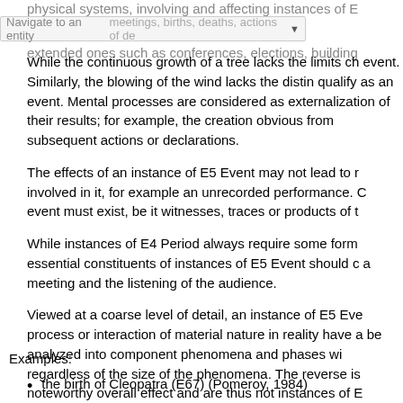physical systems, involving and affecting instances of E... meetings, births, deaths, actions of de... si... extended ones such as conferences, elections, building...
While the continuous growth of a tree lacks the limits ch event. Similarly, the blowing of the wind lacks the distin qualify as an event. Mental processes are considered as externalization of their results; for example, the creation obvious from subsequent actions or declarations.
The effects of an instance of E5 Event may not lead to r involved in it, for example an unrecorded performance. C event must exist, be it witnesses, traces or products of t
While instances of E4 Period always require some form essential constituents of instances of E5 Event should c a meeting and the listening of the audience.
Viewed at a coarse level of detail, an instance of E5 Eve process or interaction of material nature in reality have a be analyzed into component phenomena and phases wi regardless of the size of the phenomena. The reverse is noteworthy overall effect and are thus not instances of E
Examples:
the birth of Cleopatra (E67) (Pomeroy, 1984)